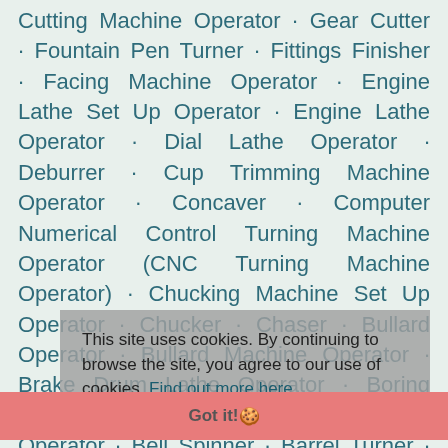Cutting Machine Operator · Gear Cutter · Fountain Pen Turner · Fittings Finisher · Facing Machine Operator · Engine Lathe Set Up Operator · Engine Lathe Operator · Dial Lathe Operator · Deburrer · Cup Trimming Machine Operator · Concaver · Computer Numerical Control Turning Machine Operator (CNC Turning Machine Operator) · Chucking Machine Set Up Operator · Chucker · Chaser · Bullard Operator · Bullard Machine Operator · Brake Drum Lathe Operator · Boring Threader · Bevel Operator · Bevel Mill Operator · Bell Spinner · Barrel Turner · Barrel Finisher · Bar Turner · Bar Pointer · Balance Wheel Facer · Balance Rocesser · Back Facer · Axle Turner ·
This site uses cookies. By continuing to browse the site, you agree to our use of cookies. Find out more here.
Got it! 🍪